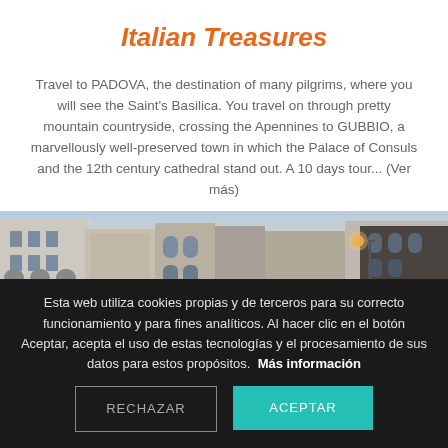Italian Treasures
Travel to PADOVA, the destination of many pilgrims, where you will see the Saint's Basilica. You travel on through pretty mountain countryside, crossing the Apennines to GUBBIO, a marvellously well-preserved town in which the Palace of Consuls and the 12th century cathedral stand out. A 10 days tour... (Ver más)
[Figure (photo): Street-level view of Italian city buildings at dusk with a warm street lamp glowing on the right side]
Esta web utiliza cookies propias y de terceros para su correcto funcionamiento y para fines analíticos. Al hacer clic en el botón Aceptar, acepta el uso de estas tecnologías y el procesamiento de sus datos para estos propósitos. Más información
RECHAZAR
ACEPTAR